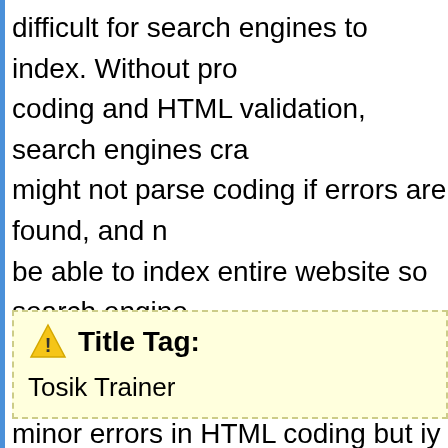difficult for search engines to index. Without proper coding and HTML validation, search engines crawlers might not parse coding if errors are found, and may not be able to index entire website so search engines may omit Website content. Search engines can ignore minor errors in HTML coding but iy Website has important HTML errors such as not closed tags will cause crawlers stop analyzing Website main pa...
Title Tag: Tosik Trainer